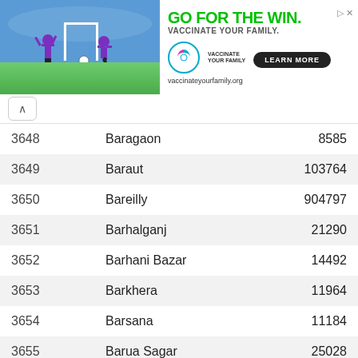[Figure (screenshot): Advertisement banner: 'GO FOR THE WIN. VACCINATE YOUR FAMILY.' with soccer-themed illustration and vaccinateyourfamily.org link]
| # | Name | Population |
| --- | --- | --- |
| 3648 | Baragaon | 8585 |
| 3649 | Baraut | 103764 |
| 3650 | Bareilly | 904797 |
| 3651 | Barhalganj | 21290 |
| 3652 | Barhani Bazar | 14492 |
| 3653 | Barkhera | 11964 |
| 3654 | Barsana | 11184 |
| 3655 | Barua Sagar | 25028 |
| 3656 | Barwar | 14196 |
| 3657 | Basti | 114657 |